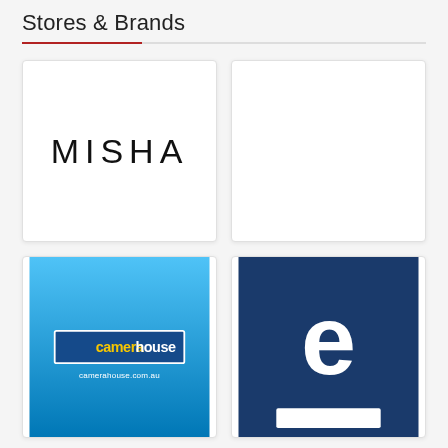Stores & Brands
[Figure (logo): MISHA brand logo — black sans-serif text on white background]
[Figure (logo): Empty white card with light border]
[Figure (logo): Camera House logo on blue gradient background with camerahouse.com.au URL]
[Figure (logo): White letter e on dark navy blue background with white rectangle below]